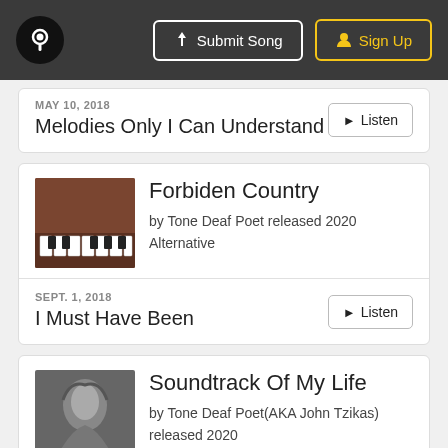Submit Song | Sign Up
MAY 10, 2018
Melodies Only I Can Understand
Forbiden Country
by Tone Deaf Poet released 2020 Alternative
SEPT. 1, 2018
I Must Have Been
Soundtrack Of My Life
by Tone Deaf Poet(AKA John Tzikas) released 2020
Pop